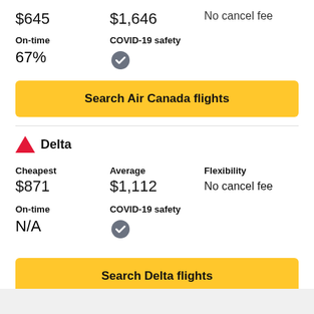$645   $1,646   No cancel fee
On-time
COVID-19 safety
67%
Search Air Canada flights
Delta
Cheapest
Average
Flexibility
$871
$1,112
No cancel fee
On-time
COVID-19 safety
N/A
Search Delta flights